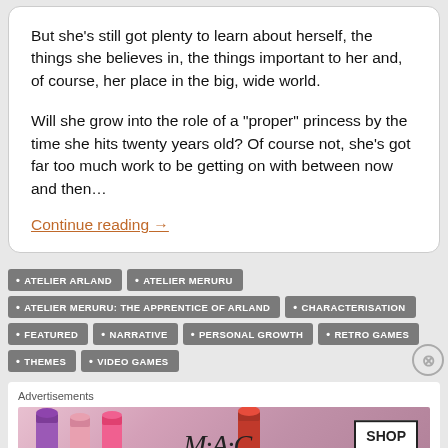But she’s still got plenty to learn about herself, the things she believes in, the things important to her and, of course, her place in the big, wide world.
Will she grow into the role of a “proper” princess by the time she hits twenty years old? Of course not, she’s got far too much work to be getting on with between now and then…
Continue reading →
ATELIER ARLAND
ATELIER MERURU
ATELIER MERURU: THE APPRENTICE OF ARLAND
CHARACTERISATION
FEATURED
NARRATIVE
PERSONAL GROWTH
RETRO GAMES
THEMES
VIDEO GAMES
[Figure (photo): MAC cosmetics advertisement showing lipsticks with SHOP NOW button]